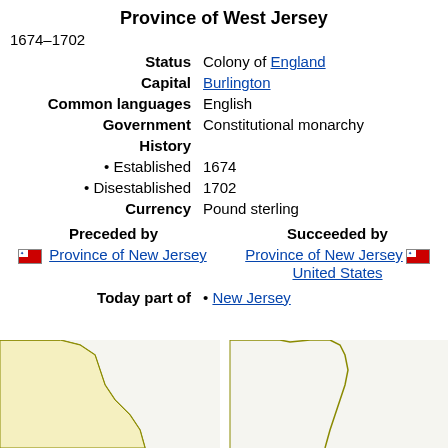Province of West Jersey
1674–1702
| Status | Colony of England |
| Capital | Burlington |
| Common languages | English |
| Government | Constitutional monarchy |
| History |  |
| • Established | 1674 |
| • Disestablished | 1702 |
| Currency | Pound sterling |
| Preceded by | Succeeded by |
| --- | --- |
| Province of New Jersey [flag] | Province of New Jersey [flag] |
|  | United States |
Today part of
New Jersey
[Figure (map): Two partial map images of West Jersey territory]